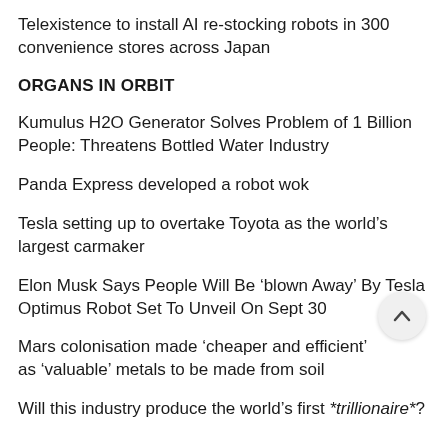Telexistence to install AI re-stocking robots in 300 convenience stores across Japan
ORGANS IN ORBIT
Kumulus H2O Generator Solves Problem of 1 Billion People: Threatens Bottled Water Industry
Panda Express developed a robot wok
Tesla setting up to overtake Toyota as the world’s largest carmaker
Elon Musk Says People Will Be ‘blown Away’ By Tesla Optimus Robot Set To Unveil On Sept 30
Mars colonisation made ‘cheaper and efficient’ as ‘valuable’ metals to be made from soil
Will this industry produce the world’s first *trillionaire*?